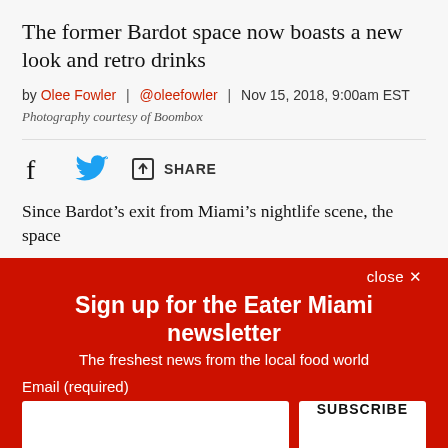The former Bardot space now boasts a new look and retro drinks
by Olee Fowler | @oleefowler | Nov 15, 2018, 9:00am EST
Photography courtesy of Boombox
[Figure (infographic): Social share bar with Facebook, Twitter, and Share icons]
Since Bardot's exit from Miami's nightlife scene, the space
close ✕
Sign up for the Eater Miami newsletter
The freshest news from the local food world
Email (required)
SUBSCRIBE
By submitting your email, you agree to our Terms and Privacy Notice. You can opt out at any time. This site is protected by reCAPTCHA and the Google Privacy Policy and Terms of Service apply.